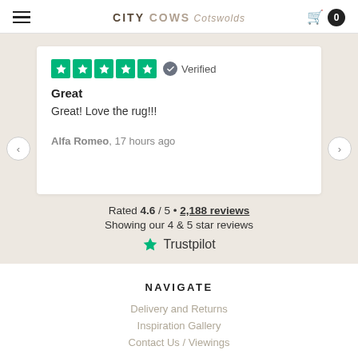CITY COWS Cotswolds
[Figure (screenshot): Trustpilot review card showing 5 green stars, Verified badge, title 'Great', review text 'Great! Love the rug!!!', author 'Alfa Romeo, 17 hours ago'. Below: Rated 4.6 / 5 • 2,188 reviews. Showing our 4 & 5 star reviews. Trustpilot logo.]
NAVIGATE
Delivery and Returns
Inspiration Gallery
Contact Us / Viewings